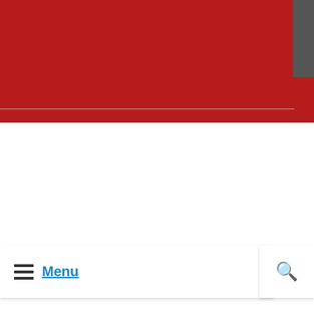[Figure (screenshot): Red header banner of a website/app with a dark gray button in the top-right corner and a white horizontal divider line]
Menu
st European Song Of The Year” at 2022 Ghana Music Awa